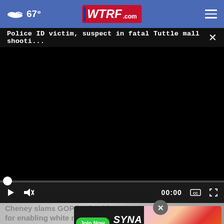67° WTRF.com
Police ID victim, suspect in fatal Tuttle mall shooti... ×
[Figure (screenshot): Black video player area with playback controls showing 00:00 timestamp, play button, mute button, captions button, and fullscreen button]
Cheney slams GOP leadership for enabling white nati...
[Figure (screenshot): Advertisement overlay for SYNA Speed and Fitness with Join Now button and fitness imagery]